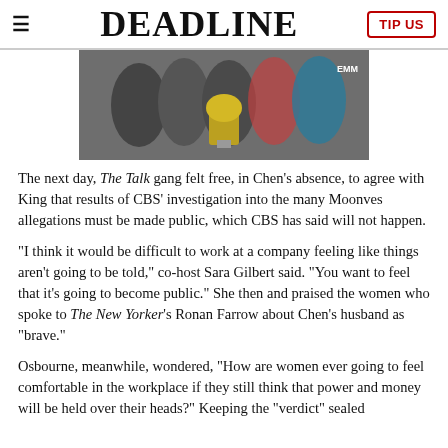DEADLINE
[Figure (photo): Group of people holding Emmy award trophy together, in front of Emmy backdrop]
The next day, The Talk gang felt free, in Chen's absence, to agree with King that results of CBS' investigation into the many Moonves allegations must be made public, which CBS has said will not happen.
“I think it would be difficult to work at a company feeling like things aren’t going to be told,” co-host Sara Gilbert said. “You want to feel that it’s going to become public.” She then and praised the women who spoke to The New Yorker’s Ronan Farrow about Chen’s husband as “brave.”
Osbourne, meanwhile, wondered, “How are women ever going to feel comfortable in the workplace if they still think that power and money will be held over their heads?” Keeping the “verdict” sealed